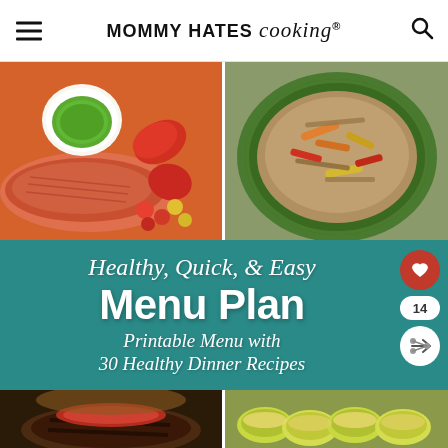MOMMY HATES cooking®
[Figure (photo): Two food photos side by side: left shows raw salmon with green chimichurri sauce, red peppers and cherry tomatoes; right shows a tuna or meat salad with mixed vegetables including bell peppers in a green bowl]
Healthy, Quick, & Easy Menu Plan Printable Menu with 30 Healthy Dinner Recipes
[Figure (photo): Two food photos side by side at bottom: left shows a grilled dark burger patty with tomato slice; right shows baked zucchini or squash slices with cheese]